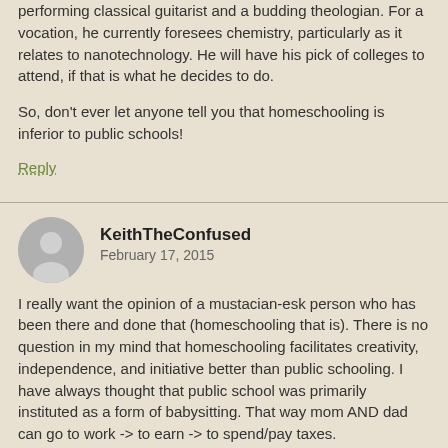performing classical guitarist and a budding theologian. For a vocation, he currently foresees chemistry, particularly as it relates to nanotechnology. He will have his pick of colleges to attend, if that is what he decides to do.
So, don't ever let anyone tell you that homeschooling is inferior to public schools!
Reply
KeithTheConfused
February 17, 2015
I really want the opinion of a mustacian-esk person who has been there and done that (homeschooling that is). There is no question in my mind that homeschooling facilitates creativity, independence, and initiative better than public schooling. I have always thought that public school was primarily instituted as a form of babysitting. That way mom AND dad can go to work -> to earn -> to spend/pay taxes.
But, what about other things like teaching your child to respect authorities other than yourself? Also, it seems that it a child will not learn to focus for an